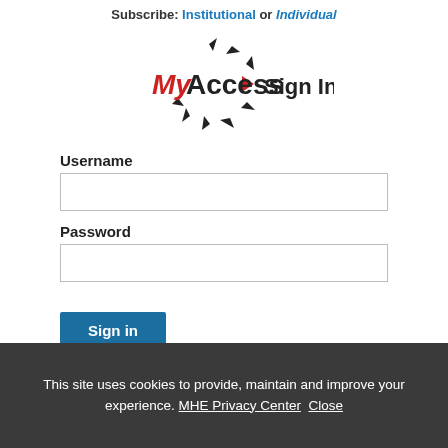Subscribe: Institutional or Individual
[Figure (logo): MyAccess logo with triangular arrow elements arranged in a circle, with red My text and black Access text, followed by Sign In text]
Username
Password
Sign in
This site uses cookies to provide, maintain and improve your experience. MHE Privacy Center Close